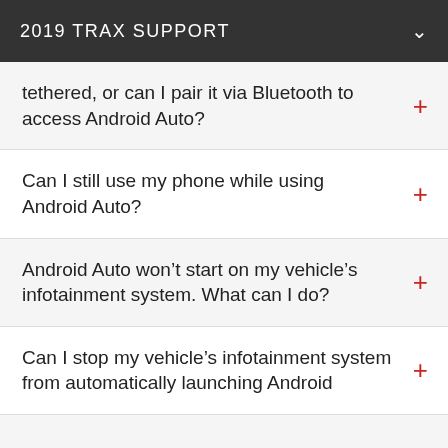2019 TRAX SUPPORT
tethered, or can I pair it via Bluetooth to access Android Auto?
Can I still use my phone while using Android Auto?
Android Auto won't start on my vehicle's infotainment system. What can I do?
Can I stop my vehicle's infotainment system from automatically launching Android